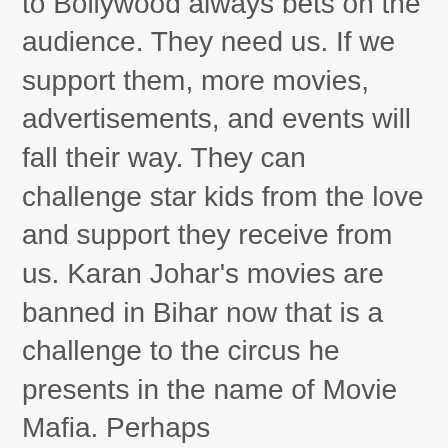A regular person who makes it to Bollywood always bets on the audience. They need us. If we support them, more movies, advertisements, and events will fall their way. They can challenge star kids from the love and support they receive from us. Karan Johar's movies are banned in Bihar now that is a challenge to the circus he presents in the name of Movie Mafia. Perhaps